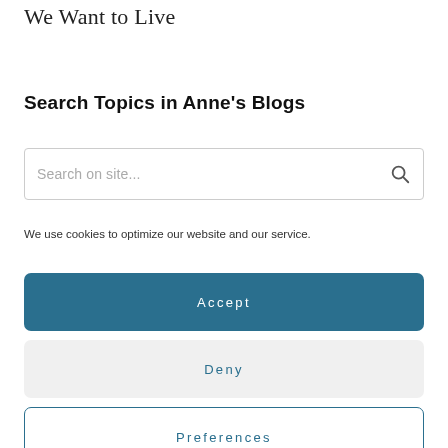We Want to Live
Search Topics in Anne's Blogs
Search on site...
We use cookies to optimize our website and our service.
Accept
Deny
Preferences